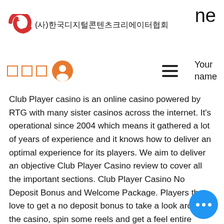(사)한국디지털콘텐츠크리에이터협회 / ne
[Figure (logo): Red circular arrow logo with Korean text: (사)한국디지털콘텐츠크리에이터협회]
ne
☐☐☐  [user icon]  ≡  Your name
Club Player casino is an online casino powered by RTG with many sister casinos across the internet. It's operational since 2004 which means it gathered a lot of years of experience and it knows how to deliver an optimal experience for its players. We aim to deliver an objective Club Player Casino review to cover all the important sections. Club Player Casino No Deposit Bonus and Welcome Package. Players that love to get a no deposit bonus to take a look around the casino, spin some reels and get a feel entire experience will be happy to learn this casino offers such a bonus, pokemon